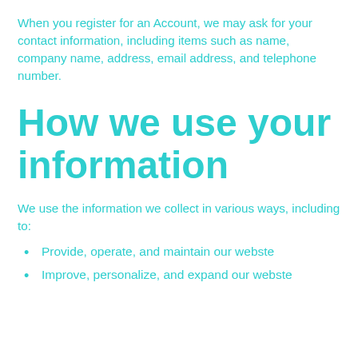When you register for an Account, we may ask for your contact information, including items such as name, company name, address, email address, and telephone number.
How we use your information
We use the information we collect in various ways, including to:
Provide, operate, and maintain our webste
Improve, personalize, and expand our webste